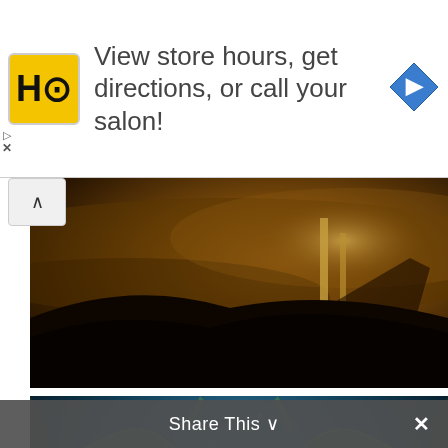[Figure (infographic): Advertisement banner: HC logo (yellow square with black HC text), text 'View store hours, get directions, or call your salon!', blue diamond navigation icon on right]
[Figure (photo): Atmospheric dark brown/amber fantasy artwork showing a large ship or structure from below with swirling clouds or atmosphere]
[Figure (illustration): Fantasy illustration of Cthulhu-like creature underwater, green glowing octopus creature with tentacles in deep blue ocean environment]
Share This